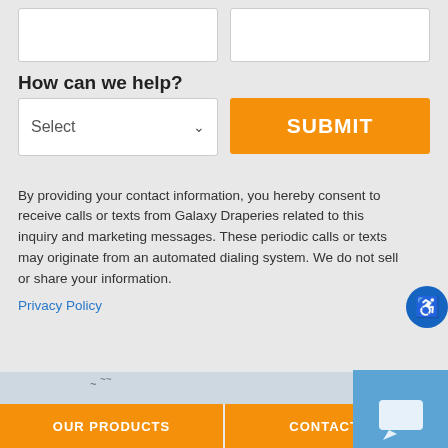[Figure (screenshot): Two empty white input fields (text boxes) for a contact form, side by side]
How can we help?
[Figure (screenshot): A dropdown select field labeled 'Select' with a chevron arrow, and an orange 'SUBMIT' button]
By providing your contact information, you hereby consent to receive calls or texts from Galaxy Draperies related to this inquiry and marketing messages. These periodic calls or texts may originate from an automated dialing system. We do not sell or share your information.
Privacy Policy
[Figure (map): Google Maps partial view showing Santa Clarita area with Map and Satellite tab controls]
OUR PRODUCTS   CONTACT US